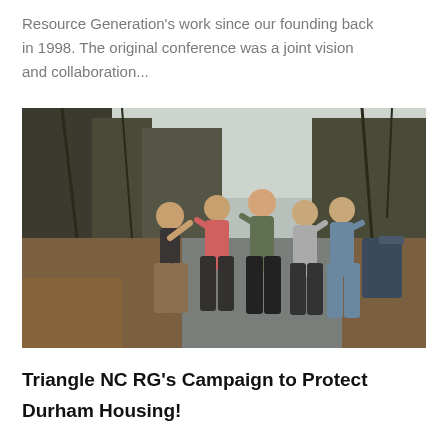Resource Generation's work since our founding back in 1998. The original conference was a joint vision and collaboration...
[Figure (photo): Five young people posing playfully on a suburban road surrounded by trees. They are leaning and making fun shapes with their bodies. Overcast sky in background.]
Triangle NC RG's Campaign to Protect Durham Housing!